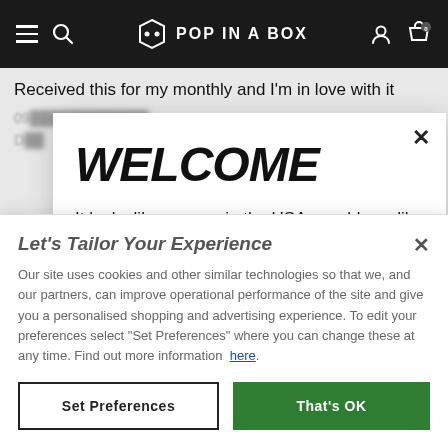POP IN A BOX
Received this for my monthly and I'm in love with it
WELCOME
It looks like you are in the USA, would you like to see our US site with $USD currency?
Let's Tailor Your Experience
Our site uses cookies and other similar technologies so that we, and our partners, can improve operational performance of the site and give you a personalised shopping and advertising experience. To edit your preferences select "Set Preferences" where you can change these at any time. Find out more information here.